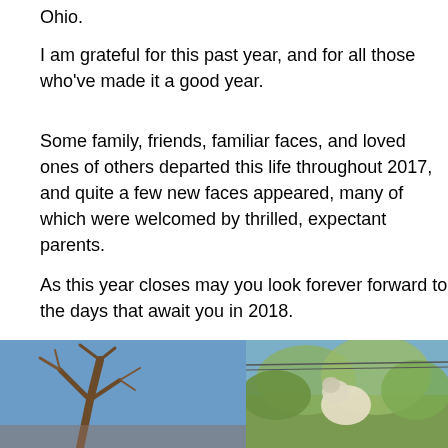Ohio.
I am grateful for this past year, and for all those who've made it a good year.
Some family, friends, familiar faces, and loved ones of others departed this life throughout 2017, and quite a few new faces appeared, many of which were welcomed by thrilled, expectant parents.
As this year closes may you look forever forward to the days that await you in 2018.
Happiest of new years, and be sure to make it a great year.
[Figure (photo): Two outdoor photos side by side: left shows bare tree branches against a blue sky, right shows what appears to be a dog or animal among green foliage.]